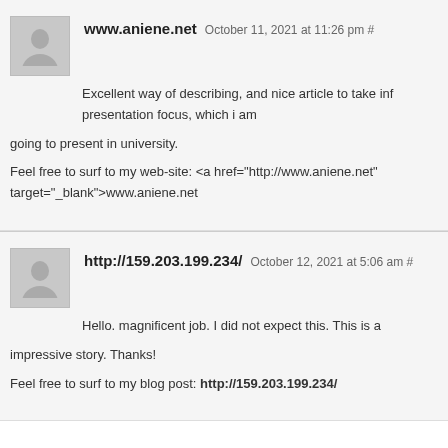www.aniene.net October 11, 2021 at 11:26 pm # Excellent way of describing, and nice article to take inf presentation focus, which i am going to present in university. Feel free to surf to my web-site: <a href="http://www.aniene.net" target="_blank">www.aniene.net
http://159.203.199.234/ October 12, 2021 at 5:06 am # Hello. magnificent job. I did not expect this. This is a impressive story. Thanks! Feel free to surf to my blog post: http://159.203.199.234/